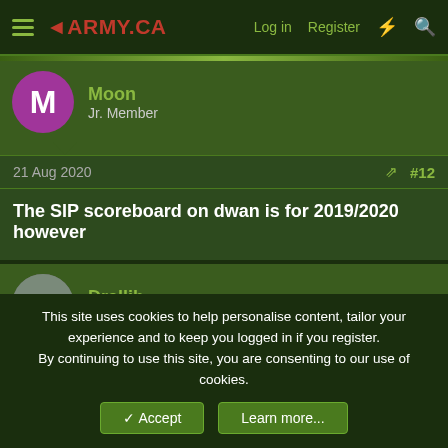ARMY.CA — Log in  Register
Moon
Jr. Member
21 Aug 2020  #12
The SIP scoreboard on dwan is for 2019/2020 however
Drallib
Full Member
21 Aug 2020  #13
Moon said:
This site uses cookies to help personalise content, tailor your experience and to keep you logged in if you register.
By continuing to use this site, you are consenting to our use of cookies.